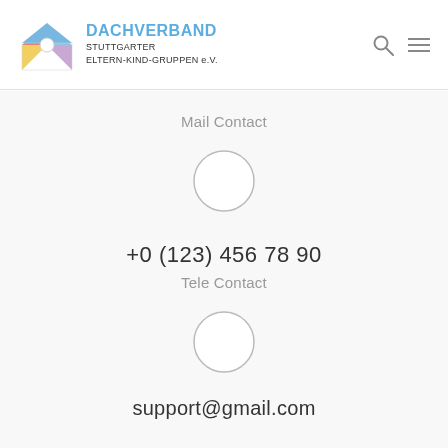[Figure (logo): Dachverband Stuttgarter Eltern-Kind-Gruppen e.V. logo with colorful envelope icon and blue brand name]
Mail Contact
[Figure (illustration): Empty circle placeholder icon]
+0 (123) 456 78 90
Tele Contact
[Figure (illustration): Empty circle placeholder icon]
support@gmail.com